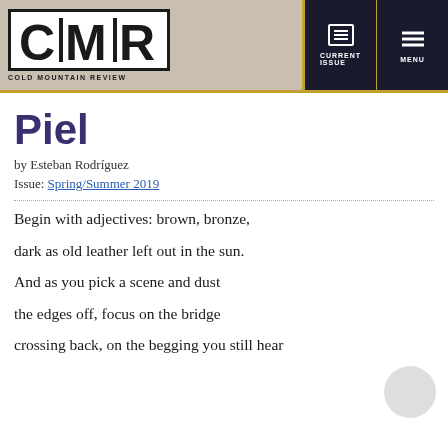CMR Cold Mountain Review | CURRENT ISSUE | MENU
Piel
by Esteban Rodríguez
Issue: Spring/Summer 2019
Begin with adjectives: brown, bronze,

dark as old leather left out in the sun.

And as you pick a scene and dust

the edges off, focus on the bridge

crossing back, on the begging you still hear